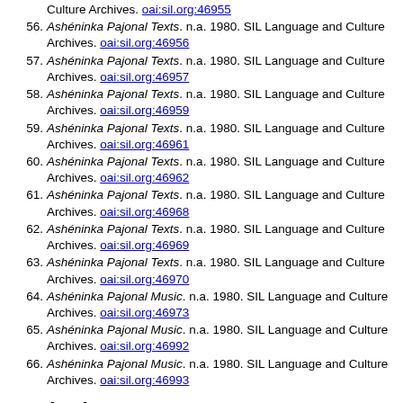56. Ashéninka Pajonal Texts. n.a. 1980. SIL Language and Culture Archives. oai:sil.org:46956
57. Ashéninka Pajonal Texts. n.a. 1980. SIL Language and Culture Archives. oai:sil.org:46957
58. Ashéninka Pajonal Texts. n.a. 1980. SIL Language and Culture Archives. oai:sil.org:46959
59. Ashéninka Pajonal Texts. n.a. 1980. SIL Language and Culture Archives. oai:sil.org:46961
60. Ashéninka Pajonal Texts. n.a. 1980. SIL Language and Culture Archives. oai:sil.org:46962
61. Ashéninka Pajonal Texts. n.a. 1980. SIL Language and Culture Archives. oai:sil.org:46968
62. Ashéninka Pajonal Texts. n.a. 1980. SIL Language and Culture Archives. oai:sil.org:46969
63. Ashéninka Pajonal Texts. n.a. 1980. SIL Language and Culture Archives. oai:sil.org:46970
64. Ashéninka Pajonal Music. n.a. 1980. SIL Language and Culture Archives. oai:sil.org:46973
65. Ashéninka Pajonal Music. n.a. 1980. SIL Language and Culture Archives. oai:sil.org:46992
66. Ashéninka Pajonal Music. n.a. 1980. SIL Language and Culture Archives. oai:sil.org:46993
Lexical resources
1. [ONLINE] Crúbadán language data for Ashéninka Pajonal